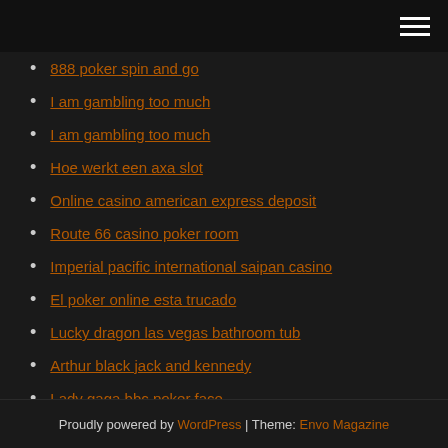[navigation header with hamburger menu]
888 poker spin and go
I am gambling too much
I am gambling too much
Hoe werkt een axa slot
Online casino american express deposit
Route 66 casino poker room
Imperial pacific international saipan casino
El poker online esta trucado
Lucky dragon las vegas bathroom tub
Arthur black jack and kennedy
Lady gaga bbc poker face
Proudly powered by WordPress | Theme: Envo Magazine